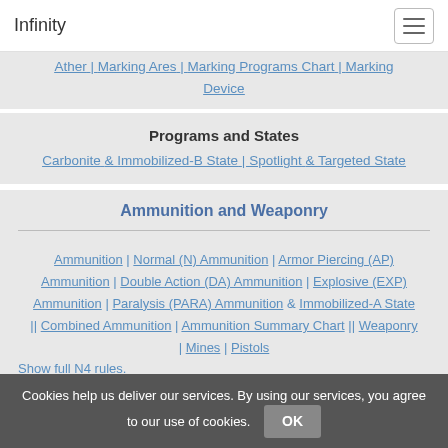Infinity
Ather | Marking Ares | Marking Programs Chart | Marking Device
Programs and States
Carbonite & Immobilized-B State | Spotlight & Targeted State
Ammunition and Weaponry
Ammunition | Normal (N) Ammunition | Armor Piercing (AP) Ammunition | Double Action (DA) Ammunition | Explosive (EXP) Ammunition | Paralysis (PARA) Ammunition & Immobilized-A State || Combined Ammunition | Ammunition Summary Chart || Weaponry | Mines | Pistols
This N4 rule is not used in CodeOne.
Show full N4 rules.
Cookies help us deliver our services. By using our services, you agree to our use of cookies. OK